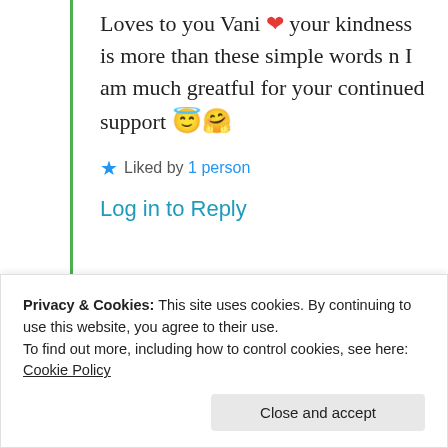Loves to you Vani ❤️ your kindness is more than these simple words n I am much greatful for your continued support 😇🤗
★ Liked by 1 person
Log in to Reply
Advertisements
[Figure (logo): Jetpack advertisement banner with green background, circular logo icon, and Jetpack text]
Privacy & Cookies: This site uses cookies. By continuing to use this website, you agree to their use.
To find out more, including how to control cookies, see here: Cookie Policy
Close and accept
Back up your site